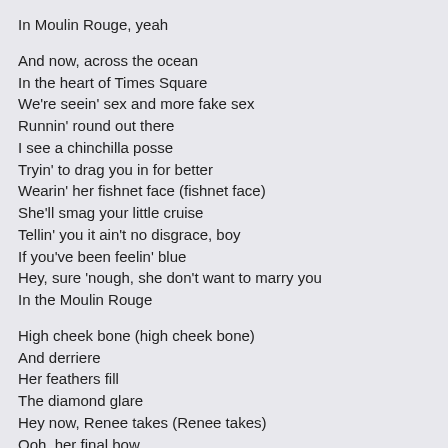In Moulin Rouge, yeah

And now, across the ocean
In the heart of Times Square
We're seein' sex and more fake sex
Runnin' round out there
I see a chinchilla posse
Tryin' to drag you in for better
Wearin' her fishnet face (fishnet face)
She'll smag your little cruise
Tellin' you it ain't no disgrace, boy
If you've been feelin' blue
Hey, sure 'nough, she don't want to marry you
In the Moulin Rouge

High cheek bone (high cheek bone)
And derriere
Her feathers fill
The diamond glare
Hey now, Renee takes (Renee takes)
Ooh, her final bow
And in fascination, all the girls go, "Wow!"
Yeah...